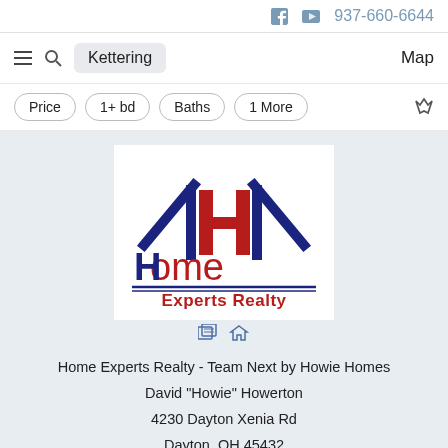f  ▶  937-660-6644
Kettering   Map
Price  1+ bd  Baths  1 More
[Figure (logo): Home Experts Realty logo with dark blue house/arrow outline containing a large 'H' in dark blue and red on white background, with 'Home' in red and 'Experts Realty' in bold red below a double navy line, and realty/equal housing icons at bottom]
Home Experts Realty - Team Next by Howie Homes
David "Howie" Howerton
4230 Dayton Xenia Rd
Dayton, OH 45432